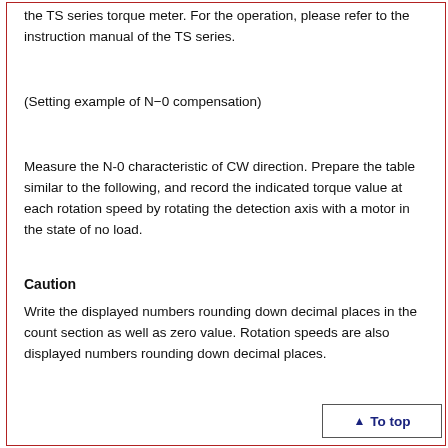the TS series torque meter. For the operation, please refer to the instruction manual of the TS series.
(Setting example of N−0 compensation)
Measure the N-0 characteristic of CW direction. Prepare the table similar to the following, and record the indicated torque value at each rotation speed by rotating the detection axis with a motor in the state of no load.
Caution
Write the displayed numbers rounding down decimal places in the count section as well as zero value. Rotation speeds are also displayed numbers rounding down decimal places.